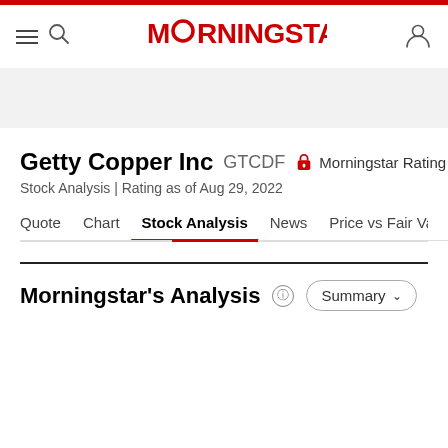Morningstar
Getty Copper Inc GTCDF — Morningstar Rating
Stock Analysis | Rating as of Aug 29, 2022
Quote  Chart  Stock Analysis  News  Price vs Fair Value  Sustai
Morningstar's Analysis
Summary